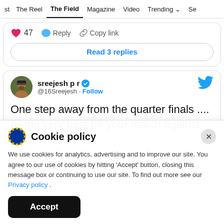st  The Reel  The Field  Magazine  Video  Trending  Se
♥ 47  Reply  Copy link
Read 3 replies
sreejesh p r @16Sreejesh · Follow
One step away from the quarter finals .... all the very best for your match against
Cookie policy
We use cookies for analytics, advertising and to improve our site. You agree to our use of cookies by hitting 'Accept' button, closing this message box or continuing to use our site. To find out more see our Privacy policy .
Accept